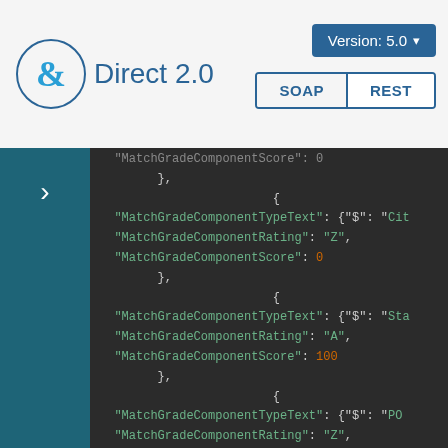Direct 2.0 | Version: 5.0 | SOAP | REST
[Figure (screenshot): JSON code viewer showing MatchGradeComponent entries with TypeText, Rating, and Score fields. Dark theme code editor displaying multiple JSON objects with keys MatchGradeComponentTypeText, MatchGradeComponentRating, and MatchGradeComponentScore.]